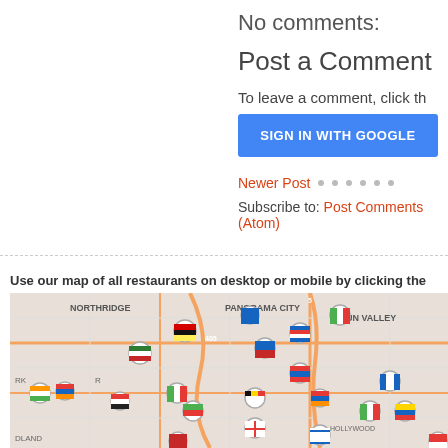No comments:
Post a Comment
To leave a comment, click th
[Figure (other): Blue 'SIGN IN WITH GOOGLE' button]
Newer Post • • • • • •
Subscribe to: Post Comments (Atom)
Use our map of all restaurants on desktop or mobile by clicking the image below
[Figure (map): Map showing restaurant locations in Los Angeles area including Northridge, Panorama City, Sun Valley with flag pin markers for various countries]